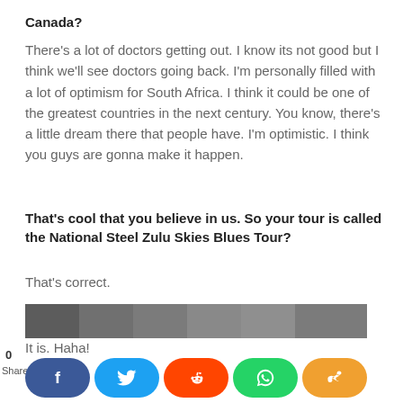Canada?
There's a lot of doctors getting out. I know its not good but I think we'll see doctors going back. I'm personally filled with a lot of optimism for South Africa. I think it could be one of the greatest countries in the next century. You know, there's a little dream there that people have. I'm optimistic. I think you guys are gonna make it happen.
That's cool that you believe in us. So your tour is called the National Steel Zulu Skies Blues Tour?
That's correct.
That's a very long name.
It is. Haha!
[Figure (photo): Partial photo strip at bottom of page, dark grainy image]
0 Shares — social share buttons: Facebook, Twitter, Reddit, WhatsApp, Share